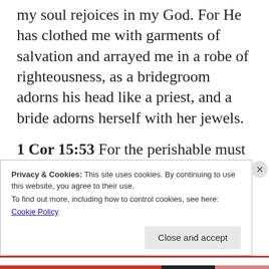my soul rejoices in my God. For He has clothed me with garments of salvation and arrayed me in a robe of righteousness, as a bridegroom adorns his head like a priest, and a bride adorns herself with her jewels.
1 Cor 15:53 For the perishable must clothe itself with the imperishable and the mortal immortality.
Privacy & Cookies: This site uses cookies. By continuing to use this website, you agree to their use.
To find out more, including how to control cookies, see here: Cookie Policy